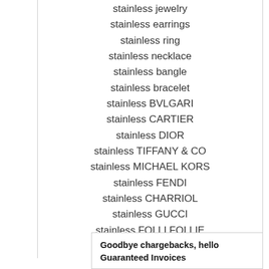stainless jewelry
stainless earrings
stainless ring
stainless necklace
stainless bangle
stainless bracelet
stainless BVLGARI
stainless CARTIER
stainless DIOR
stainless TIFFANY & CO
stainless MICHAEL KORS
stainless FENDI
stainless CHARRIOL
stainless GUCCI
stainless FOLLI FOLLIE
stainless MONTBLANC
stainless VERSACE
Goodbye chargebacks, hello Guaranteed Invoices